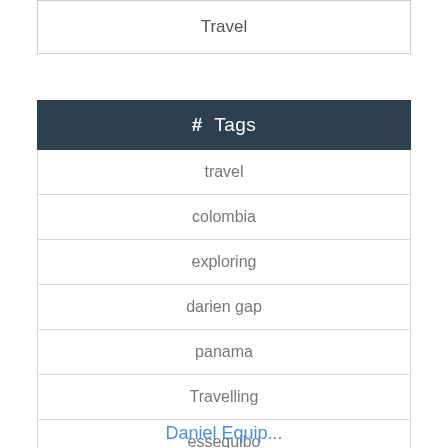| Travel |
| # Tags |
| --- |
| travel |
| colombia |
| exploring |
| darien gap |
| panama |
| Travelling |
| essequibo |
| wildlife |
| Adventure |
| Training |
Daniel Equip...